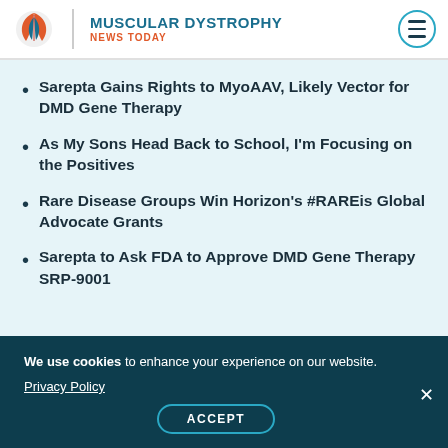MUSCULAR DYSTROPHY NEWS TODAY
Sarepta Gains Rights to MyoAAV, Likely Vector for DMD Gene Therapy
As My Sons Head Back to School, I'm Focusing on the Positives
Rare Disease Groups Win Horizon's #RAREis Global Advocate Grants
Sarepta to Ask FDA to Approve DMD Gene Therapy SRP-9001
We use cookies to enhance your experience on our website. Privacy Policy ACCEPT